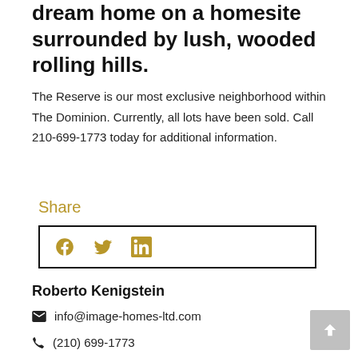dream home on a homesite surrounded by lush, wooded rolling hills.
The Reserve is our most exclusive neighborhood within The Dominion. Currently, all lots have been sold. Call 210-699-1773 today for additional information.
Share
[Figure (other): Social sharing buttons box with Facebook, Twitter, and LinkedIn icons in gold/olive color inside a black bordered rectangle]
Roberto Kenigstein
info@image-homes-ltd.com
(210) 699-1773